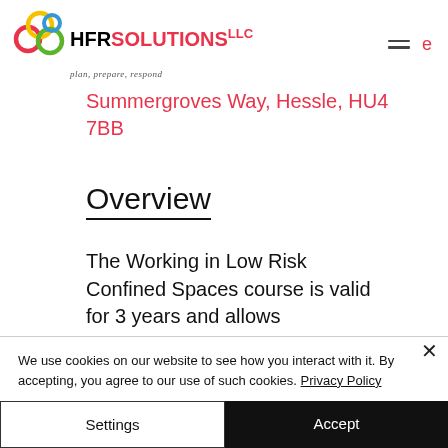[Figure (logo): HFR Solutions LLC logo with colorful interlocking circles (red, yellow, green, blue) and company name text]
Summergroves Way, Hessle, HU4 7BB
Overview
The Working in Low Risk Confined Spaces course is valid for 3 years and allows
We use cookies on our website to see how you interact with it. By accepting, you agree to our use of such cookies. Privacy Policy